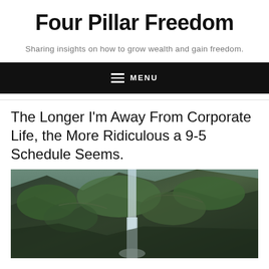Four Pillar Freedom
Sharing insights on how to grow wealth and gain freedom.
≡ MENU
The Longer I’m Away From Corporate Life, the More Ridiculous a 9-5 Schedule Seems.
[Figure (photo): A waterfall cascading down a rocky mountainside covered in green vegetation, photographed from a distance.]